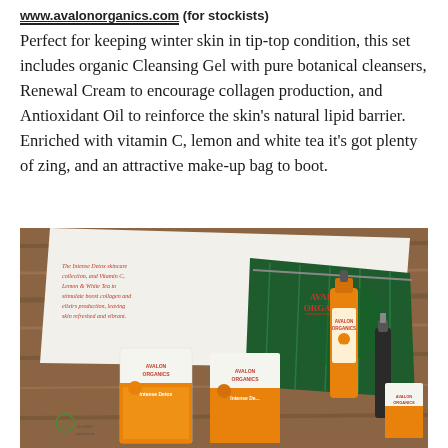www.avalonorganics.com (for stockists)
Perfect for keeping winter skin in tip-top condition, this set includes organic Cleansing Gel with pure botanical cleansers, Renewal Cream to encourage collagen production, and Antioxidant Oil to reinforce the skin’s natural lipid barrier. Enriched with vitamin C, lemon and white tea it’s got plenty of zing, and an attractive make-up bag to boot.
[Figure (photo): Photo of Avalon Organics Intense Defense skincare gift set showing multiple orange-branded product boxes, bottles, and a green patterned make-up bag on a wooden surface. The packaging reads 'Avalon Organics' with 'Intense Defense' product line.]